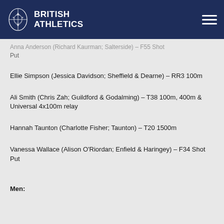British Athletics
… (…; …) – F55 Shot Put
Ellie Simpson (Jessica Davidson; Sheffield & Dearne) – RR3 100m
Ali Smith (Chris Zah; Guildford & Godalming) – T38 100m, 400m & Universal 4x100m relay
Hannah Taunton (Charlotte Fisher; Taunton) – T20 1500m
Vanessa Wallace (Alison O'Riordan; Enfield & Haringey) – F34 Shot Put
Men: